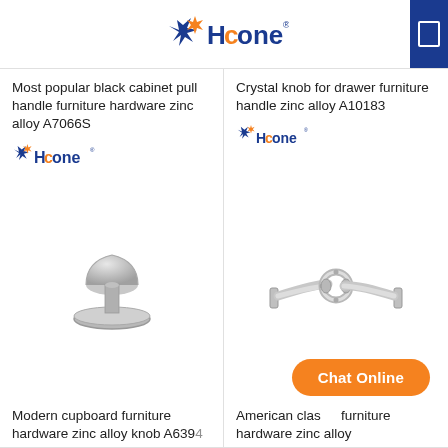Hcone
Most popular black cabinet pull handle furniture hardware zinc alloy A7066S
[Figure (logo): Hcone logo - blue star and orange star with blue text]
[Figure (photo): Silver cabinet knob furniture hardware]
Crystal knob for drawer furniture handle zinc alloy A10183
[Figure (logo): Hcone logo small]
[Figure (photo): Silver T-bar pull handle furniture hardware with ring center]
Modern cupboard furniture hardware zinc alloy knob A6394
American classic furniture hardware zinc alloy